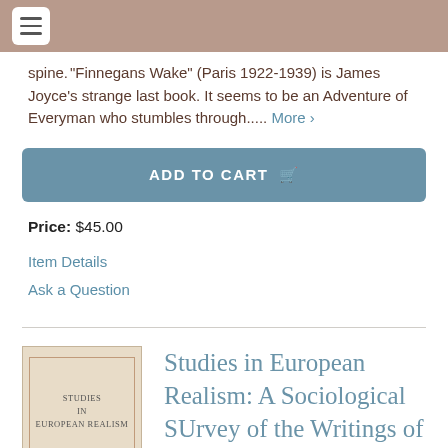spine.  "Finnegans Wake" (Paris 1922-1939) is James Joyce's strange last book. It seems to be an Adventure of Everyman who stumbles through.....  More ›
ADD TO CART
Price: $45.00
Item Details
Ask a Question
[Figure (illustration): Book cover for 'Studies in European Realism' with text: STUDIES IN EUROPEAN REALISM]
Studies in European Realism: A Sociological SUrvey of the Writings of Balzac, Stendhal, Zola...